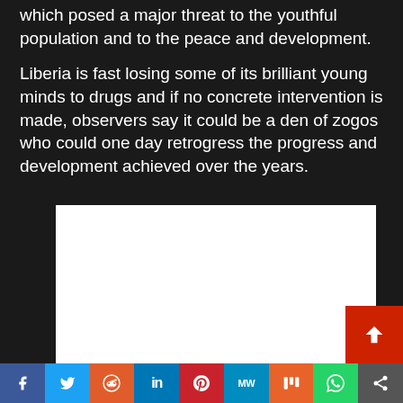which posed a major threat to the youthful population and to the peace and development.
Liberia is fast losing some of its brilliant young minds to drugs and if no concrete intervention is made, observers say it could be a den of zogos who could one day retrogress the progress and development achieved over the years.
[Figure (other): White blank image/advertisement placeholder]
Social share buttons: Facebook, Twitter, Reddit, LinkedIn, Pinterest, MeWe, Mix, WhatsApp, Share